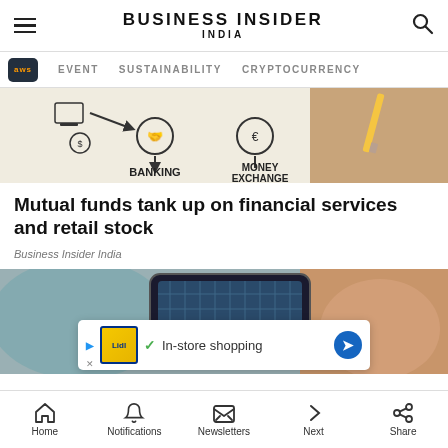BUSINESS INSIDER INDIA
[Figure (screenshot): Navigation bar with AWS badge, EVENT, SUSTAINABILITY, CRYPTOCURRENCY links]
[Figure (photo): Person drawing a banking and money exchange diagram with pencil on paper, showing BANKING and MONEY EXCHANGE text with icons]
Mutual funds tank up on financial services and retail stock
Business Insider India
[Figure (photo): Person holding a smartphone with a building/grid reflection visible on screen, with an advertisement overlay showing In-store shopping with Lidl logo and Google Maps arrow icon]
Home  Notifications  Newsletters  Next  Share